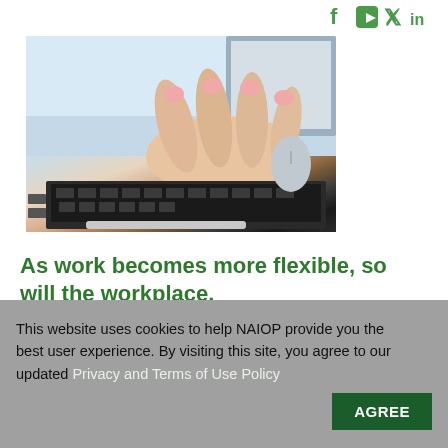[Figure (logo): Social media icons (Facebook, YouTube, Twitter, LinkedIn) in green, top right corner]
[Figure (photo): Close-up photo of a woman's hand typing on a laptop keyboard, with a mouse visible in the background]
As work becomes more flexible, so will the workplace.
IN ITS 2016 “Workspace, Reworked” report, JLL stated
This website uses cookies to help NAIOP provide you the best user experience. By visiting this site, you agree to our updated Privacy and Terms of Use Policy